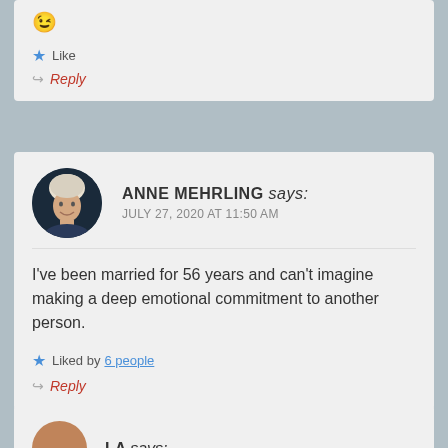[Figure (other): Winking face emoji]
Like
Reply
ANNE MEHRLING says: JULY 27, 2020 AT 11:50 AM
I've been married for 56 years and can't imagine making a deep emotional commitment to another person.
Liked by 6 people
Reply
LA says: